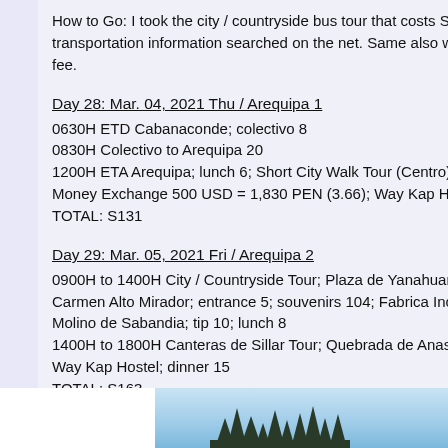How to Go: I took the city / countryside bus tour that costs S35 transportation information searched on the net. Same also with admission fee.
Day 28: Mar. 04, 2021 Thu / Arequipa 1
0630H ETD Cabanaconde; colectivo 8
0830H Colectivo to Arequipa 20
1200H ETA Arequipa; lunch 6; Short City Walk Tour (Centro); B Money Exchange 500 USD = 1,830 PEN (3.66); Way Kap Hos TOTAL: S131
Day 29: Mar. 05, 2021 Fri / Arequipa 2
0900H to 1400H City / Countryside Tour; Plaza de Yanahuara; Carmen Alto Mirador; entrance 5; souvenirs 104; Fabrica Incalp Molino de Sabandia; tip 10; lunch 8
1400H to 1800H Canteras de Sillar Tour; Quebrada de Anashu Way Kap Hostel; dinner 15
TOTAL: S163
[Figure (photo): Bottom strip of a photo showing a blue sky and silhouettes of trees at the bottom edge.]